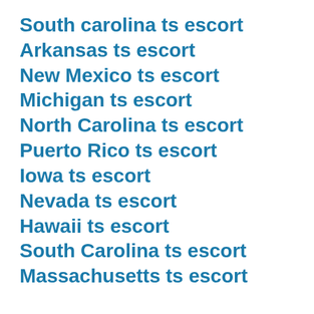South carolina ts escort
Arkansas ts escort
New Mexico ts escort
Michigan ts escort
North Carolina ts escort
Puerto Rico ts escort
Iowa ts escort
Nevada ts escort
Hawaii ts escort
South Carolina ts escort
Massachusetts ts escort